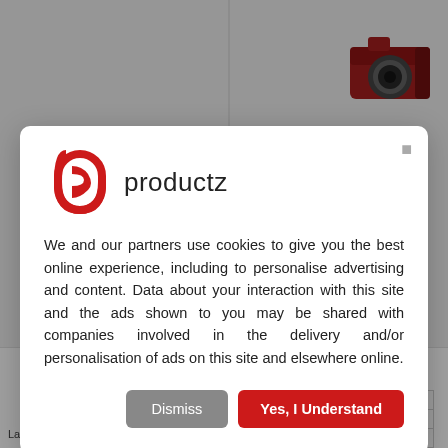[Figure (screenshot): Background page showing product listing with camera images and language table, partially obscured by modal overlay]
[Figure (logo): Productz logo: red stylized P letter mark followed by the word 'productz' in dark text]
We and our partners use cookies to give you the best online experience, including to personalise advertising and content. Data about your interaction with this site and the ads shown to you may be shared with companies involved in the delivery and/or personalisation of ads on this site and elsewhere online.
Dismiss
Yes, I Understand